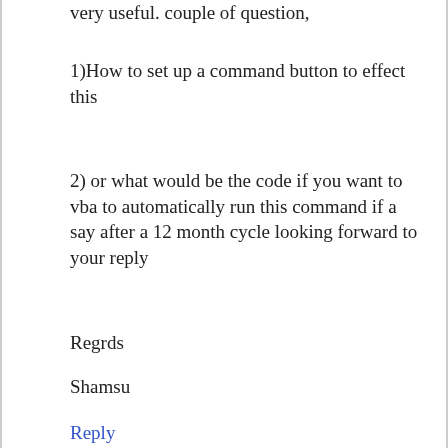very useful. couple of question,
1)How to set up a command button to effect this
2) or what would be the code if you want to vba to automatically run this command if a say after a 12 month cycle looking forward to your reply
Regrds
Shamsu
Reply